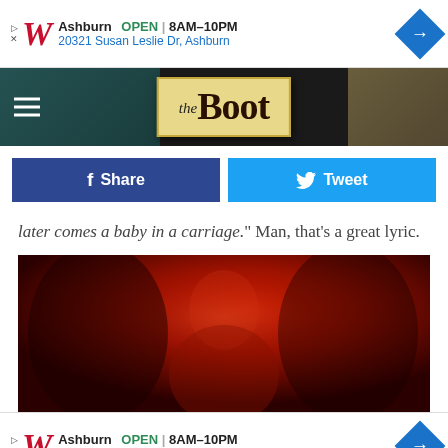[Figure (screenshot): Walgreens advertisement banner: Ashburn OPEN 8AM-10PM, 20321 Susan Leslie Dr, Ashburn with navigation icon]
[Figure (screenshot): The Boot website header/logo with hamburger menu on dark background]
[Figure (screenshot): Facebook Share and Twitter Tweet buttons]
later comes a baby in a carriage." Man, that's a great lyric.
[Figure (photo): Red-tinted photo of a person, appears to be an artist or musician in dramatic red lighting]
[Figure (screenshot): Walgreens advertisement banner: Ashburn OPEN 8AM-10PM, 20321 Susan Leslie Dr, Ashburn with navigation icon]